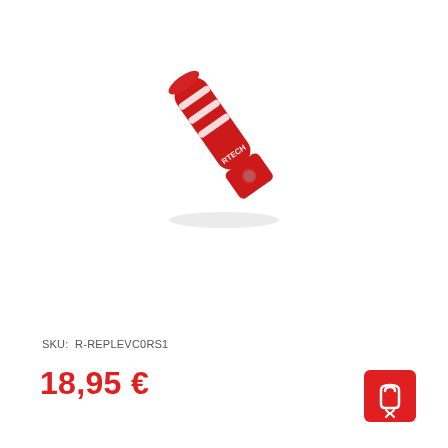[Figure (photo): Red aluminum motorcycle footpeg/lever with white stripe accents and Rtech logo, shown at an angle on white background]
SKU: R-REPLEVC0RS1
18,95 €
[Figure (illustration): Red shopping cart / add-to-cart button icon with up/down arrows]